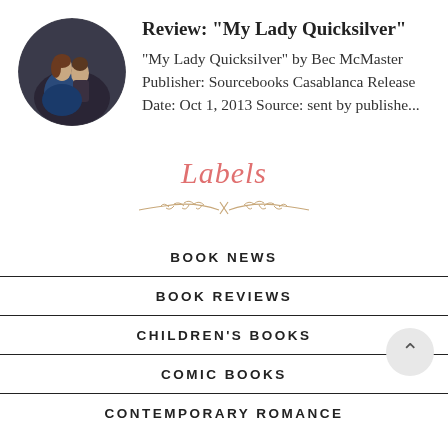[Figure (illustration): Circular book cover thumbnail showing a woman in a blue dress with a man behind her, dark atmospheric background]
Review: "My Lady Quicksilver"
"My Lady Quicksilver" by Bec McMaster Publisher: Sourcebooks Casablanca Release Date: Oct 1, 2013 Source: sent by publishe...
Labels
[Figure (illustration): Decorative leaf/branch divider ornament]
BOOK NEWS
BOOK REVIEWS
CHILDREN'S BOOKS
COMIC BOOKS
CONTEMPORARY ROMANCE